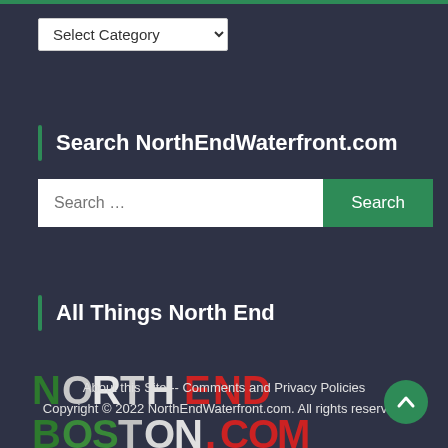Select Category
Search NorthEndWaterfront.com
Search ...
All Things North End
[Figure (logo): North End Boston .com logo with colorful text in Italian flag colors (green, white, red) on dark background]
About this Site -- Comments and Privacy Policies
Copyright © 2022 NorthEndWaterfront.com. All rights reserved.